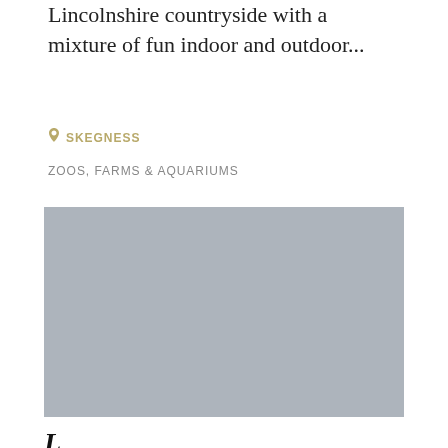Lincolnshire countryside with a mixture of fun indoor and outdoor...
📍 SKEGNESS
ZOOS, FARMS & AQUARIUMS
[Figure (photo): A placeholder/greyed-out rectangular image block in light blue-grey color]
L... J... T...